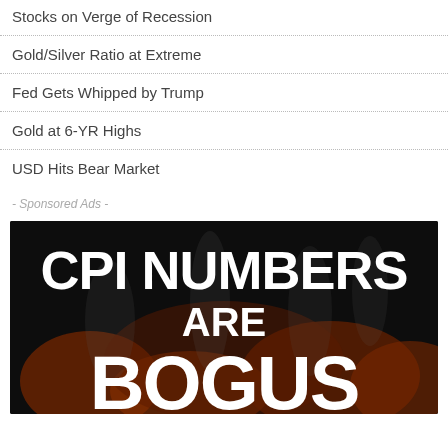Stocks on Verge of Recession
Gold/Silver Ratio at Extreme
Fed Gets Whipped by Trump
Gold at 6-YR Highs
USD Hits Bear Market
- Sponsored Ads -
[Figure (photo): Advertisement image with dark smoky background and bold white text reading 'CPI NUMBERS ARE BOGUS']